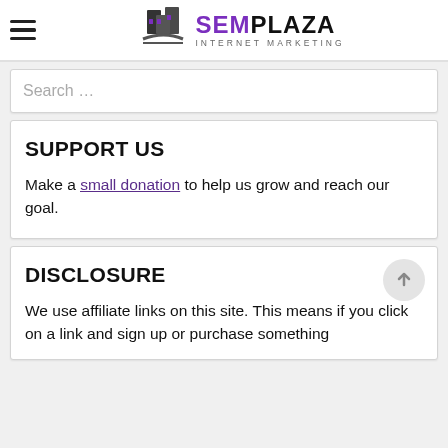SemPlaza Internet Marketing
Search …
SUPPORT US
Make a small donation to help us grow and reach our goal.
DISCLOSURE
We use affiliate links on this site. This means if you click on a link and sign up or purchase something